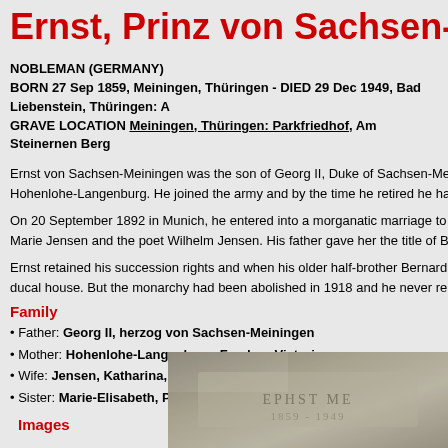Ernst, Prinz von Sachsen-Me…
NOBLEMAN (GERMANY)
BORN 27 Sep 1859, Meiningen, Thüringen - DIED 29 Dec 1949, Bad Liebenstein, Thüringen: A…
GRAVE LOCATION Meiningen, Thüringen: Parkfriedhof, Am Steinernen Berg
Ernst von Sachsen-Meiningen was the son of Georg II, Duke of Sachsen-Me… Hohenlohe-Langenburg. He joined the army and by the time he retired he ha…
On 20 September 1892 in Munich, he entered into a morganatic marriage to … Marie Jensen and the poet Wilhelm Jensen. His father gave her the title of Ba…
Ernst retained his succession rights and when his older half-brother Bernard … ducal house. But the monarchy had been abolished in 1918 and he never rei…
Family
• Father: Georg II, herzog von Sachsen-Meiningen
• Mother: Hohenlohe-Langenburg, Feodora Victoria zu
• Wife: Jensen, Katharina, Baronin von Saalfeld (1892-, München)
• Sister: Marie-Elisabeth, Prinzessin von Sachsen-Meiningen
Images
[Figure (photo): A stone grave marker or plaque with partially legible text, appearing weathered and moss-covered]